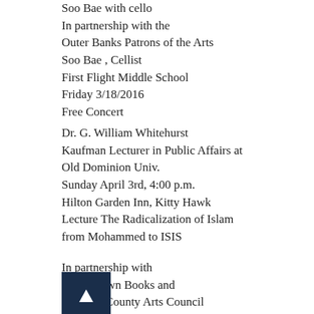Soo Bae with cello
In partnership with the
Outer Banks Patrons of the Arts
Soo Bae , Cellist
First Flight Middle School
Friday 3/18/2016
Free Concert
Dr. G. William Whitehurst
Kaufman Lecturer in Public Affairs at
Old Dominion Univ.
Sunday April 3rd, 4:00 p.m.
Hilton Garden Inn, Kitty Hawk
Lecture The Radicalization of Islam
from Mohammed to ISIS
In partnership with
town Books and
the Dare County Arts Council
Master Holton Deception